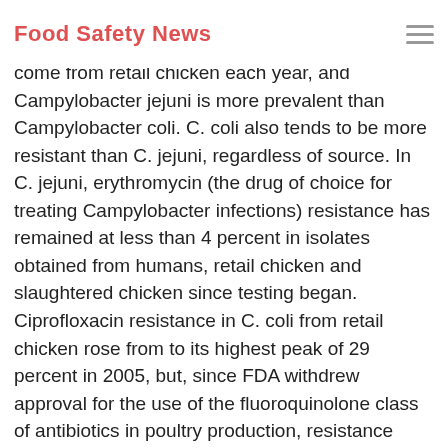Food Safety News
remained below the 2002-2010 average of 19.8 percent. More than 90 percent of Campylobacter come from retail chicken each year, and Campylobacter jejuni is more prevalent than Campylobacter coli. C. coli also tends to be more resistant than C. jejuni, regardless of source. In C. jejuni, erythromycin (the drug of choice for treating Campylobacter infections) resistance has remained at less than 4 percent in isolates obtained from humans, retail chicken and slaughtered chicken since testing began. Ciprofloxacin resistance in C. coli from retail chicken rose from to its highest peak of 29 percent in 2005, but, since FDA withdrew approval for the use of the fluoroquinolone class of antibiotics in poultry production, resistance decreased to 18 percent. However, this is not the case for C. jejuni, in which